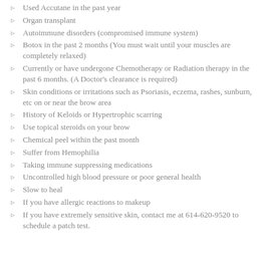Used Accutane in the past year
Organ transplant
Autoimmune disorders (compromised immune system)
Botox in the past 2 months (You must wait until your muscles are completely relaxed)
Currently or have undergone Chemotherapy or Radiation therapy in the past 6 months. (A Doctor's clearance is required)
Skin conditions or irritations such as Psoriasis, eczema, rashes, sunburn, etc on or near the brow area
History of Keloids or Hypertrophic scarring
Use topical steroids on your brow
Chemical peel within the past month
Suffer from Hemophilia
Taking immune suppressing medications
Uncontrolled high blood pressure or poor general health
Slow to heal
If you have allergic reactions to makeup
If you have extremely sensitive skin, contact me at 614-620-9520 to schedule a patch test.